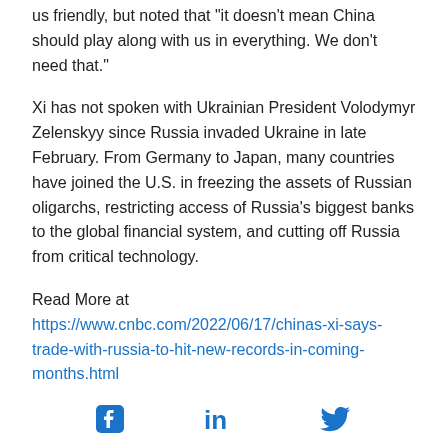us friendly, but noted that "it doesn't mean China should play along with us in everything. We don't need that."
Xi has not spoken with Ukrainian President Volodymyr Zelenskyy since Russia invaded Ukraine in late February. From Germany to Japan, many countries have joined the U.S. in freezing the assets of Russian oligarchs, restricting access of Russia's biggest banks to the global financial system, and cutting off Russia from critical technology.
Read More at https://www.cnbc.com/2022/06/17/chinas-xi-says-trade-with-russia-to-hit-new-records-in-coming-months.html
[Figure (other): Social media share icons: Facebook, LinkedIn, Twitter]